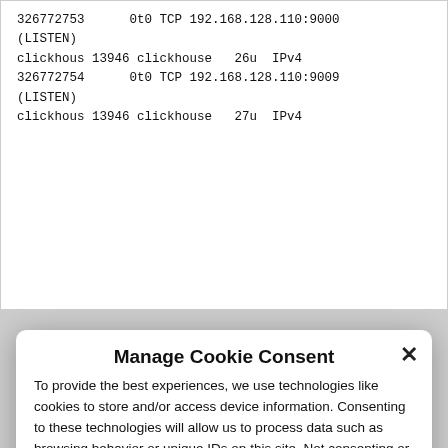326772753      0t0 TCP 192.168.128.110:9000
(LISTEN)
clickhous 13946 clickhouse   26u  IPv4
326772754      0t0 TCP 192.168.128.110:9009
(LISTEN)
clickhous 13946 clickhouse   27u  IPv4
Manage Cookie Consent
To provide the best experiences, we use technologies like cookies to store and/or access device information. Consenting to these technologies will allow us to process data such as browsing behavior or unique IDs on this site. Not consenting or withdrawing consent, may adversely affect certain features and functions.
Accept
Deny
Cookie Policy  Privacy Policy